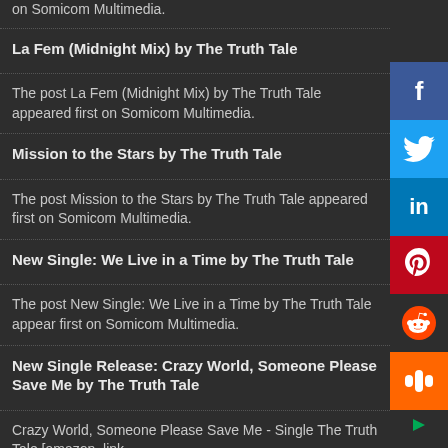on Somicom Multimedia.
La Fem (Midnight Mix) by The Truth Tale
The post La Fem (Midnight Mix) by The Truth Tale appeared first on Somicom Multimedia.
Mission to the Stars by The Truth Tale
The post Mission to the Stars by The Truth Tale appeared first on Somicom Multimedia.
New Single: We Live in a Time by The Truth Tale
The post New Single: We Live in a Time by The Truth Tale appeared first on Somicom Multimedia.
New Single Release: Crazy World, Someone Please Save Me by The Truth Tale
Crazy World, Someone Please Save Me - Single The Truth Tale [amazon_link asins='B01DHQQXXQ,B00YDWR27A,B07G55PKCY,B00U5O426Y,B07SFT1J3L,B07DPVR34P,B00NJVS39W,B078S7PFMJ,B07BW1XJGP,B002RGPQJ0' template='ProductCarousel' store='sou1new-20' marketplace='US' link_id='90bdce45-9a1c-11e8-81de-4b8abafdbf79'] The post New Single Release: Crazy World